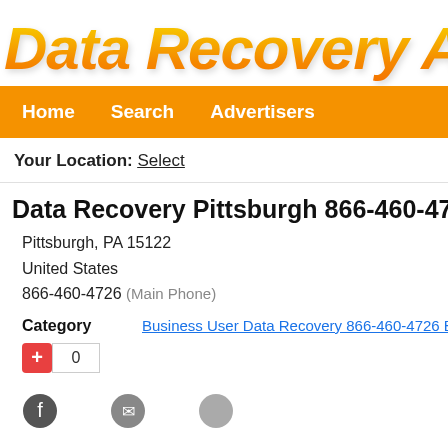Data Recovery Ads
Home | Search | Advertisers
Your Location: Select
Data Recovery Pittsburgh 866-460-4726 P
Pittsburgh, PA 15122
United States
866-460-4726 (Main Phone)
Category: Business User Data Recovery 866-460-4726 Bu